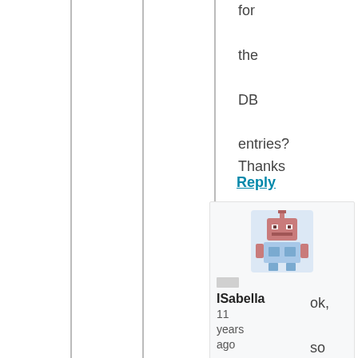for

the

DB

entries?
Thanks

🙂
Reply
[Figure (illustration): Pixel art avatar showing a robot/retro game character in pink and blue tones]
ISabella
11 years ago
ok,

so

it